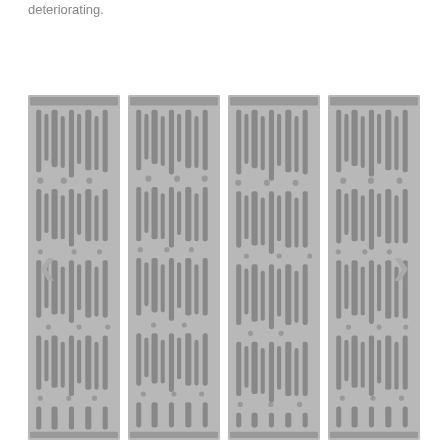deteriorating.
[Figure (photo): Four side-by-side grayscale images showing embossed or textured panels with vertical striped patterns containing dots and dashes, resembling punched tape or encoded data strips. Navigation arrows are visible on the left and right sides of the composite image.]